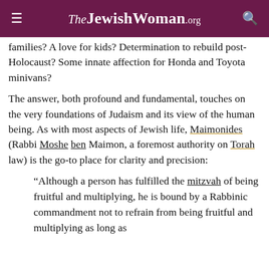TheJewishWoman.org
families? A love for kids? Determination to rebuild post-Holocaust? Some innate affection for Honda and Toyota minivans?
The answer, both profound and fundamental, touches on the very foundations of Judaism and its view of the human being. As with most aspects of Jewish life, Maimonides (Rabbi Moshe ben Maimon, a foremost authority on Torah law) is the go-to place for clarity and precision:
“Although a person has fulfilled the mitzvah of being fruitful and multiplying, he is bound by a Rabbinic commandment not to refrain from being fruitful and multiplying as long as